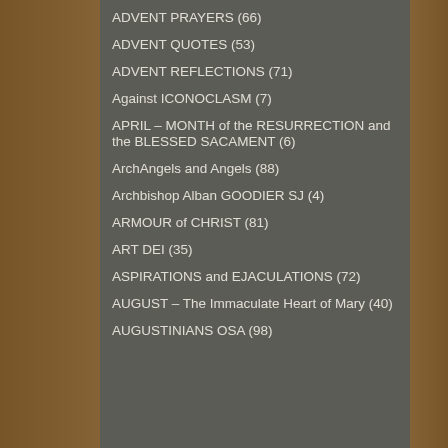ADVENT PRAYERS (66)
ADVENT QUOTES (53)
ADVENT REFLECTIONS (71)
Against ICONOCLASM (7)
APRIL – MONTH of the RESURRECTION and the BLESSED SACAMENT (6)
ArchAngels and Angels (88)
Archbishop Alban GOODIER SJ (4)
ARMOUR of CHRIST (81)
ART DEI (35)
ASPIRATIONS and EJACULATIONS (72)
AUGUST – The Immaculate Heart of Mary (40)
AUGUSTINIANS OSA (98)